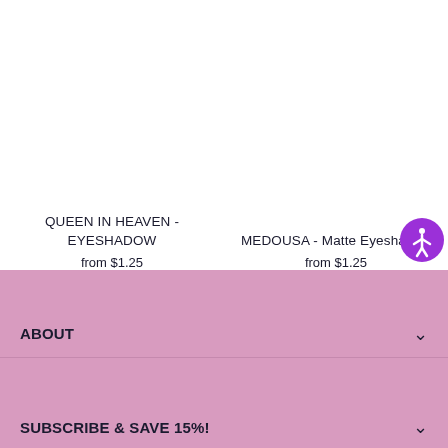QUEEN IN HEAVEN - EYESHADOW
from $1.25
MEDOUSA - Matte Eyeshadow
from $1.25
ABOUT
SUBSCRIBE & SAVE 15%!